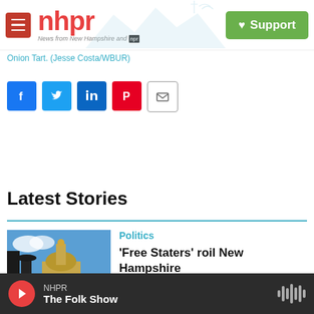[Figure (logo): NHPR logo with red hamburger menu, red nhpr text, scenic New Hampshire mountains/radio tower background, and green Support button]
Onion Tart. (Jesse Costa/WBUR)
[Figure (other): Social sharing icons: Facebook, Twitter, LinkedIn, Pinterest, Email]
Latest Stories
Politics
'Free Staters' roil New Hampshire
NHPR The Folk Show